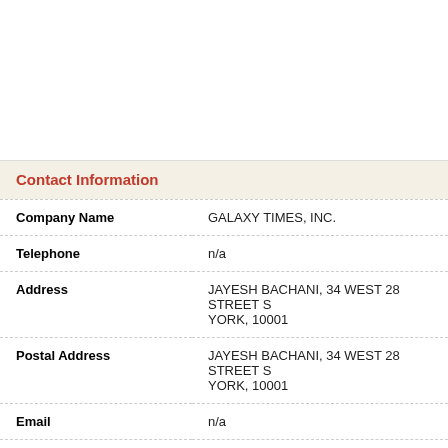Contact Information
| Field | Value |
| --- | --- |
| Company Name | GALAXY TIMES, INC. |
| Telephone | n/a |
| Address | JAYESH BACHANI, 34 WEST 28 STREET S YORK, 10001 |
| Postal Address | JAYESH BACHANI, 34 WEST 28 STREET S YORK, 10001 |
| Email | n/a |